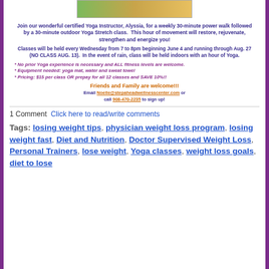[Figure (photo): Photo of person doing yoga outdoors, colorful background]
Join our wonderful certified Yoga Instructor, Alyssia, for a weekly 30-minute power walk followed by a 30-minute outdoor Yoga Stretch class. This hour of movement will restore, rejuvenate, strengthen and energize you!
Classes will be held every Wednesday from 7 to 8pm beginning June 4 and running through Aug. 27 (NO CLASS AUG. 13). In the event of rain, class will be held indoors with an hour of Yoga.
* No prior Yoga experience is necessary and ALL fitness levels are welcome.
* Equipment needed: yoga mat, water and sweat towel
* Pricing: $15 per class OR prepay for all 12 classes and SAVE 10%!!
Friends and Family are welcome!!!
Email Noelle@stepaheadwellnesscenter.com or call 908-470-2235 to sign up!
1 Comment  Click here to read/write comments
Tags: losing weight tips, physician weight loss program, losing weight fast, Diet and Nutrition, Doctor Supervised Weight Loss, Personal Trainers, lose weight, Yoga classes, weight loss goals, diet to lose